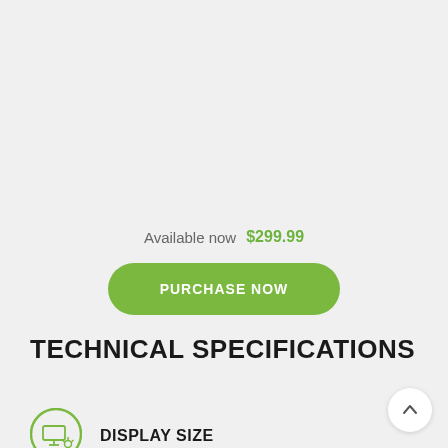Available now  $299.99
PURCHASE NOW
TECHNICAL SPECIFICATIONS
DISPLAY SIZE
[Figure (illustration): Circular icon with a display/screen symbol inside, green border, used for Display Size specification]
[Figure (illustration): Scroll-to-top button, circular white button with upward-pointing chevron]